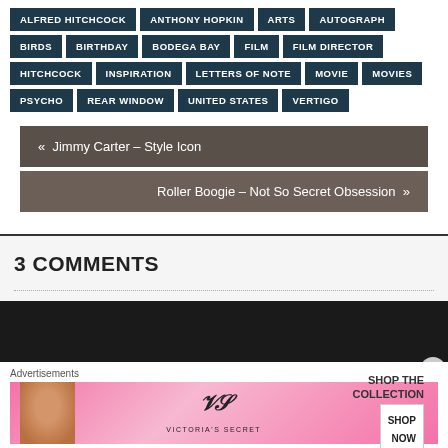ALFRED HITCHCOCK
ANTHONY HOPKIN
ARTS
AUTOGRAPH
BIRDS
BIRTHDAY
BODEGA BAY
FILM
FILM DIRECTOR
HITCHCOCK
INSPIRATION
LETTERS OF NOTE
MOVIE
MOVIES
PSYCHO
REAR WINDOW
UNITED STATES
VERTIGO
« Jimmy Carter – Style Icon
Roller Boogie – Not So Secret Obsession »
3 COMMENTS
[Figure (other): Advertisement banner for Victoria's Secret showing a model and 'SHOP THE COLLECTION / SHOP NOW' text]